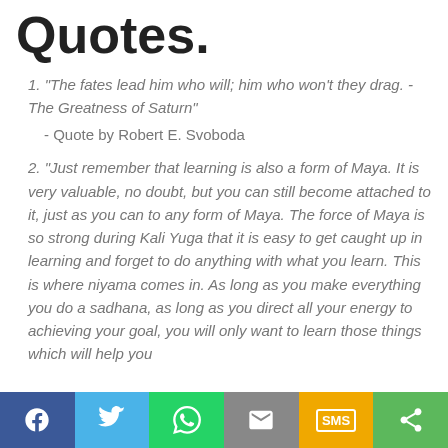Quotes.
1.  "The fates lead him who will; him who won't they drag. - The Greatness of Saturn"
- Quote by Robert E. Svoboda
2.  "Just remember that learning is also a form of Maya. It is very valuable, no doubt, but you can still become attached to it, just as you can to any form of Maya. The force of Maya is so strong during Kali Yuga that it is easy to get caught up in learning and forget to do anything with what you learn. This is where niyama comes in. As long as you make everything you do a sadhana, as long as you direct all your energy to achieving your goal, you will only want to learn those things which will help you